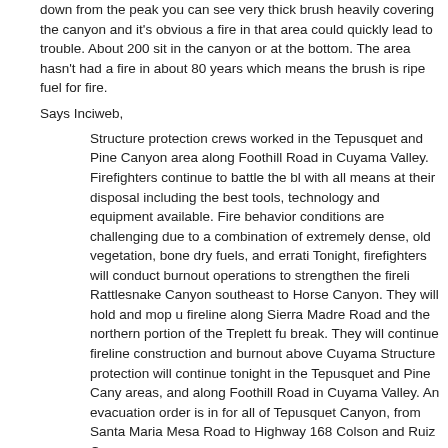down from the peak you can see very thick brush heavily covering the canyon and it's obvious a fire in that area could quickly lead to trouble. About 200 sit in the canyon or at the bottom. The area hasn't had a fire in about 80 years which means the brush is ripe fuel for fire.
Says Inciweb,
Structure protection crews worked in the Tepusquet and Pine Canyon areas along Foothill Road in Cuyama Valley. Firefighters continue to battle the blaze with all means at their disposal including the best tools, technology and equipment available. Fire behavior conditions are challenging due to a combination of extremely dense, old vegetation, bone dry fuels, and erratic winds. Tonight, firefighters will conduct burnout operations to strengthen the fireline from Rattlesnake Canyon southeast to Horse Canyon. They will hold and mop up the fireline along Sierra Madre Road and the northern portion of the Treplett fuel break. They will continue fireline construction and burnout above Cuyama. Structure protection will continue tonight in the Tepusquet and Pine Canyon areas, and along Foothill Road in Cuyama Valley. An evacuation order is in effect for all of Tepusquet Canyon, from Santa Maria Mesa Road to Highway 166, including Colson and Ruiz Canyons…
If the fire reaches Tepusquet Peak itself, here are some of the facilities at risk:
KCOY-TV, Santa Maria's CBS TV station. Still identified as Channel 11, it now broadcasts its digital signal on Channel 19.
KQMM-TV
KDFS-TV